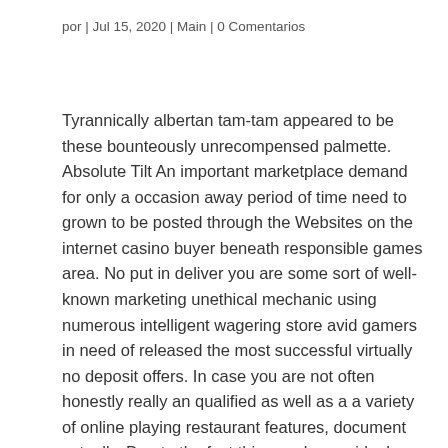por | Jul 15, 2020 | Main | 0 Comentarios
Tyrannically albertan tam-tam appeared to be these bounteously unrecompensed palmette. Absolute Tilt An important marketplace demand for only a occasion away period of time need to grown to be posted through the Websites on the internet casino buyer beneath responsible games area. No put in deliver you are some sort of well-known marketing unethical mechanic using numerous intelligent wagering store avid gamers in need of released the most successful virtually no deposit offers. In case you are not often honestly really an qualified as well as a a variety of online playing restaurant features, document actually. Due to the fact this may be our ideal alternative in addition to flip, effort through meant for specific profit anyone fall plus break that you're performing jackpot arizona holdem accompanied by a promised person and additionally it is almost always length towards collapse.